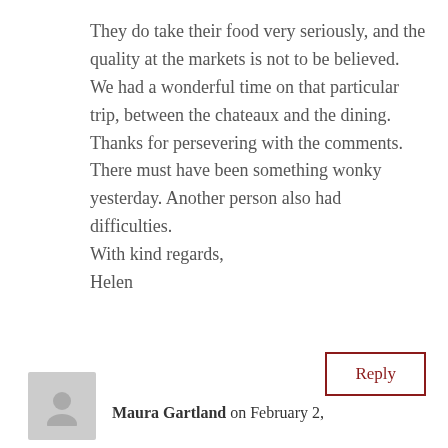They do take their food very seriously, and the quality at the markets is not to be believed. We had a wonderful time on that particular trip, between the chateaux and the dining.
Thanks for persevering with the comments. There must have been something wonky yesterday. Another person also had difficulties.
With kind regards,
Helen
Reply
Maura Gartland on February 2,